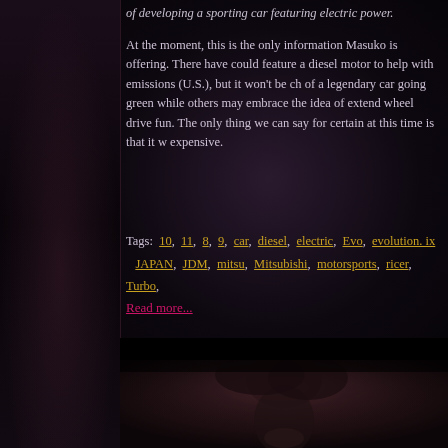of developing a sporting car featuring electric power.
At the moment, this is the only information Masuko is offering. There have could feature a diesel motor to help with emissions (U.S.), but it won't be ch of a legendary car going green while others may embrace the idea of extend wheel drive fun. The only thing we can say for certain at this time is that it w expensive.
Tags: 10, 11, 8, 9, car, diesel, electric, Evo, evolution. ix JAPAN, JDM, mitsu, Mitsubishi, motorsports, ricer, Turbo,
Read more...
[Figure (photo): Dark portrait photo of a woman with long hair, face partially in shadow, chin resting on hand]